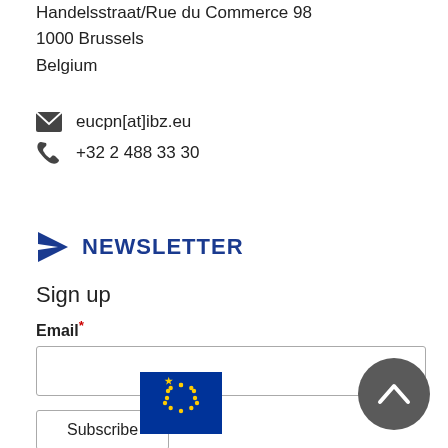Handelsstraat/Rue du Commerce 98
1000 Brussels
Belgium
eucpn[at]ibz.eu
+32 2 488 33 30
NEWSLETTER
Sign up
Email*
[Figure (other): Email input field (empty text box)]
[Figure (other): Subscribe button]
[Figure (other): EU flag logo — blue rectangle with circle of yellow stars]
[Figure (other): Scroll-to-top button — dark grey circle with upward chevron arrow]